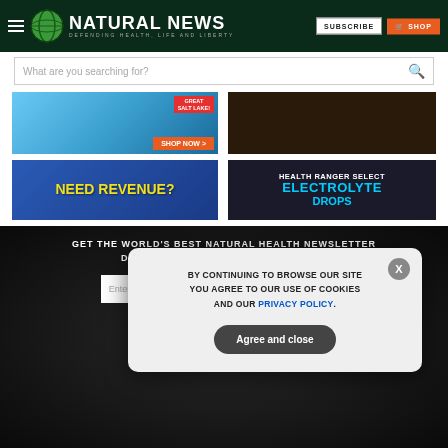[Figure (screenshot): Natural News website header with logo, subscribe and shop buttons]
[Figure (screenshot): Search bar with placeholder 'What are you searching for?']
[Figure (screenshot): Advertisement banner: Great Salt Lake Drops - SHOP NOW]
[Figure (screenshot): Advertisement banner: USDA Organic product - SHOP NOW]
[Figure (screenshot): Advertisement banner: NEED REVENUE?]
[Figure (screenshot): Advertisement banner: Health Ranger Select Electrolyte Drops]
GET THE WORLD'S BEST NATURAL HEALTH NEWSLETTER DELIVERED STRAIGHT TO YOUR INBOX
Enter Your Email Address
SUBSCRIBE
BY CONTINUING TO BROWSE OUR SITE YOU AGREE TO OUR USE OF COOKIES AND OUR PRIVACY POLICY.
Agree and close